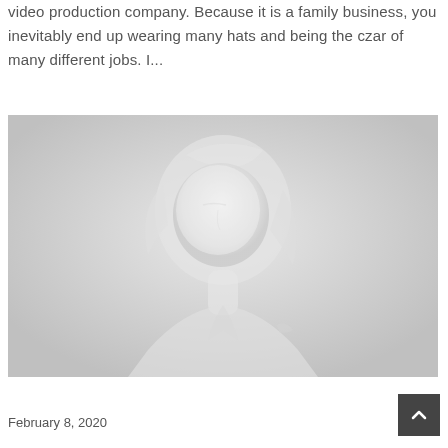video production company. Because it is a family business, you inevitably end up wearing many hats and being the czar of many different jobs. I...
[Figure (photo): A young woman with blonde hair looking upward to the side, photographed against a light grey background. The image is very pale/washed out with high key lighting.]
February 8, 2020